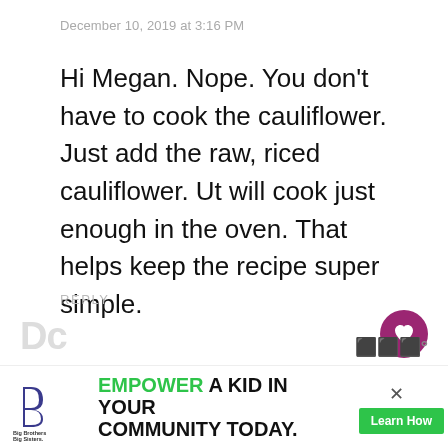December 10, 2019 at 3:16 PM
Hi Megan. Nope. You don't have to cook the cauliflower. Just add the raw, riced cauliflower. Ut will cook just enough in the oven. That helps keep the recipe super simple.
REPLY
[Figure (other): Like button: pink/magenta circular button with white heart icon, showing count 8.1K below]
[Figure (other): Share button: white circular button with share icon]
[Figure (other): Advertisement banner: Big Brothers Big Sisters logo on left, text EMPOWER A KID IN YOUR COMMUNITY TODAY. with green Learn How button and close X]